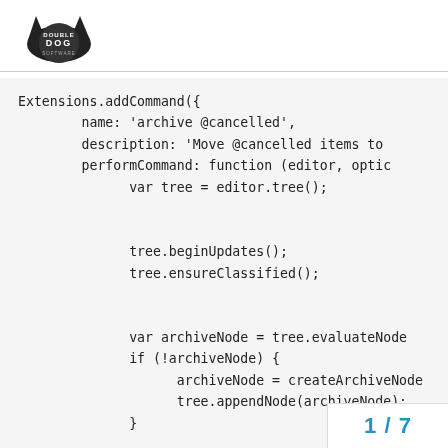Double Dog logo header
Extensions.addCommand({
        name: 'archive @cancelled',
        description: 'Move @cancelled items to
        performCommand: function (editor, optic
              var tree = editor.tree();


              tree.beginUpdates();
              tree.ensureClassified();


              var archiveNode = tree.evaluateNode
              if (!archiveNode) {
                    archiveNode = createArchiveNode
                    tree.appendNode(archiveNode);
              }


              Node.commonAncestorsForNodes(tree.e
                    archiveNode.ins
              });
});
1 / 7